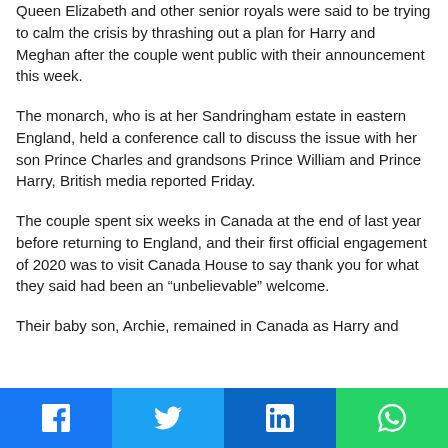Queen Elizabeth and other senior royals were said to be trying to calm the crisis by thrashing out a plan for Harry and Meghan after the couple went public with their announcement this week.
The monarch, who is at her Sandringham estate in eastern England, held a conference call to discuss the issue with her son Prince Charles and grandsons Prince William and Prince Harry, British media reported Friday.
The couple spent six weeks in Canada at the end of last year before returning to England, and their first official engagement of 2020 was to visit Canada House to say thank you for what they said had been an “unbelievable” welcome.
Their baby son, Archie, remained in Canada as Harry and
Facebook | Twitter | LinkedIn | WhatsApp